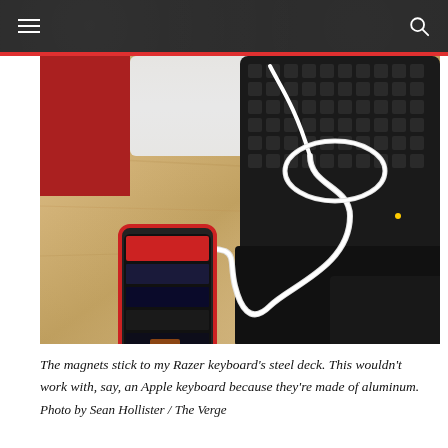[Figure (photo): An iPhone with a red case connected via a white USB cable lies on a wooden desk next to a black mechanical gaming keyboard (Razer) and a white device (possibly a router or hub). The cable forms a loop connecting phone to keyboard area.]
The magnets stick to my Razer keyboard’s steel deck. This wouldn’t work with, say, an Apple keyboard because they’re made of aluminum.
Photo by Sean Hollister / The Verge